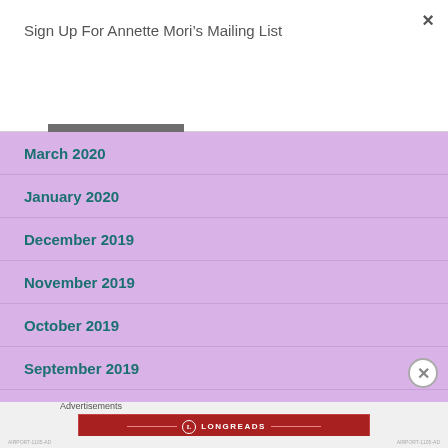Sign Up For Annette Mori’s Mailing List
Subscribe
March 2020
January 2020
December 2019
November 2019
October 2019
September 2019
Advertisements
[Figure (other): Longreads advertisement banner: The best stories on the web – ours, and everyone else’s.]